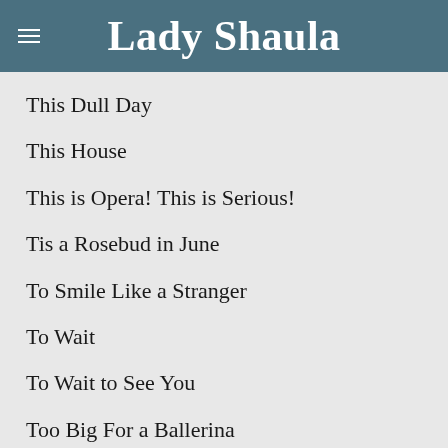Lady Shaula
This Dull Day
This House
This is Opera! This is Serious!
Tis a Rosebud in June
To Smile Like a Stranger
To Wait
To Wait to See You
Too Big For a Ballerina
Total Eclipse
Touche Clou...